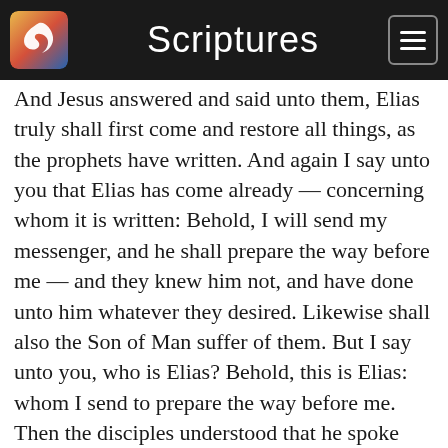Scriptures
And Jesus answered and said unto them, Elias truly shall first come and restore all things, as the prophets have written. And again I say unto you that Elias has come already — concerning whom it is written: Behold, I will send my messenger, and he shall prepare the way before me — and they knew him not, and have done unto him whatever they desired. Likewise shall also the Son of Man suffer of them. But I say unto you, who is Elias? Behold, this is Elias: whom I send to prepare the way before me. Then the disciples understood that he spoke unto them of John the Baptist, and also of another who should come and restore all things, as it is written by the prophets.
6  And when they had come to the multitude,